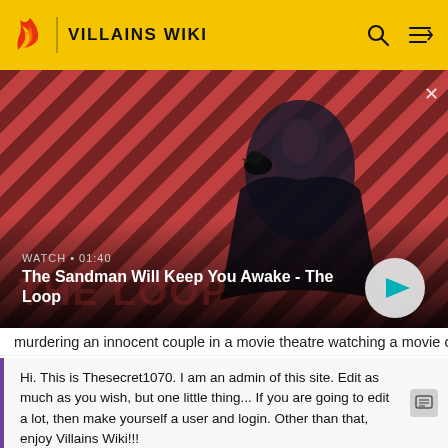VILLAINS WIKI
[Figure (screenshot): Video banner showing a dark-cloaked figure with a raven on their shoulder against a red and dark striped background. Title card reads: WATCH • 01:40 — The Sandman Will Keep You Awake - The Loop]
murdering an innocent couple in a movie theatre watching a movie called "Stab" based on Sidney's fight
Hi. This is Thesecret1070. I am an admin of this site. Edit as much as you wish, but one little thing... If you are going to edit a lot, then make yourself a user and login. Other than that, enjoy Villains Wiki!!!